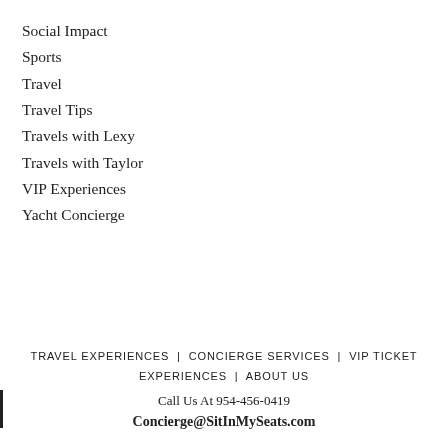Social Impact
Sports
Travel
Travel Tips
Travels with Lexy
Travels with Taylor
VIP Experiences
Yacht Concierge
TRAVEL EXPERIENCES | CONCIERGE SERVICES | VIP TICKET EXPERIENCES | ABOUT US
Call Us At 954-456-0419
Concierge@SitInMySeats.com